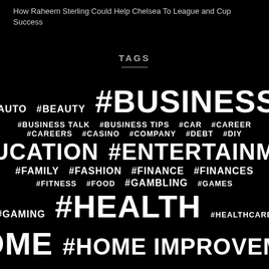How Raheem Sterling Could Help Chelsea To League and Cup Success
TAGS
[Figure (infographic): Tag cloud on black background with hashtag labels in varying font sizes: #AUTO, #BEAUTY, #BUSINESS (large), #BUSINESS TALK, #BUSINESS TIPS, #CAR, #CAREER, #CAREERS, #CASINO, #COMPANY, #DEBT, #DIY, #EDUCATION (large), #ENTERTAINMENT (large), #FAMILY, #FASHION, #FINANCE, #FINANCES, #FITNESS, #FOOD, #GAMBLING, #GAMES, #GAMING, #HEALTH (very large), #HEALTHCARE, #HOME (very large), #HOME IMPROVEMENT (very large)]